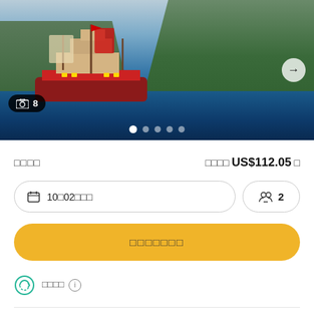[Figure (photo): A decorative pirate/galleon ship on a lake with mountains and trees in the background. Navigation arrow on right, photo count badge on lower left, pagination dots at bottom.]
□□□□
□□□□ US$112.05 □
📅 10□02□□□ 👥 2
□□□□□□□
□□□□ ℹ